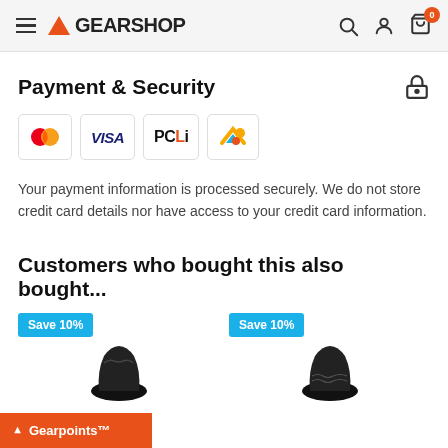GEARSHOP - Navigation header with hamburger menu, logo, search, account, and cart icons
Payment & Security
[Figure (logo): Payment method icons: Mastercard, Visa, POLi, Afterpay/Zippay]
Your payment information is processed securely. We do not store credit card details nor have access to your credit card information.
Customers who bought this also bought...
[Figure (photo): Two product cards showing black gloves with 'Save 10%' badges]
Gearpoints™